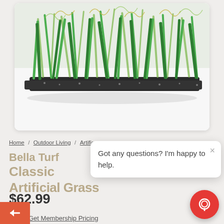[Figure (photo): Close-up photo of artificial grass turf showing green synthetic fibers and backing material on a white background, displayed in a rounded white card]
Home / Outdoor Living / Artific
Bella Turf
Classic Artificial Grass
$62.99
Got any questions? I'm happy to help.
Get Membership Pricing